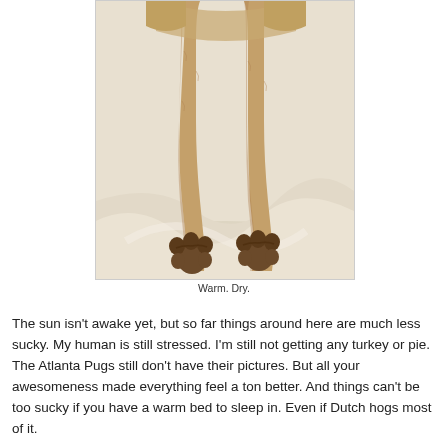[Figure (photo): Close-up photo of a pug dog's hind legs and paws resting on white bedding/sheets. The paws have dark pads visible from below.]
Warm. Dry.
The sun isn't awake yet, but so far things around here are much less sucky. My human is still stressed. I'm still not getting any turkey or pie. The Atlanta Pugs still don't have their pictures. But all your awesomeness made everything feel a ton better. And things can't be too sucky if you have a warm bed to sleep in. Even if Dutch hogs most of it.